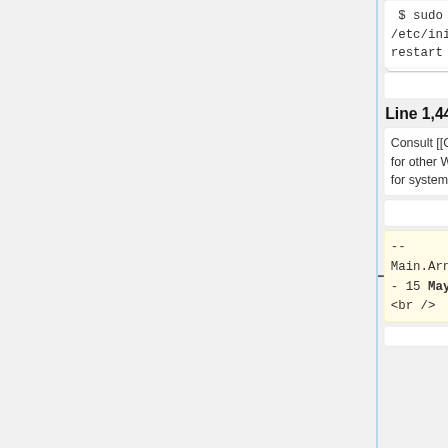$ sudo /etc/init.d/lighttpd restart
$ sudo /etc/init.d/lighttpd restart
Line 1,442:
Line 1,440:
Consult [[Category:Administrators]] for other WeBWorK documentation for system administrators.
Consult [[Category:Administrators]] for other WeBWorK documentation for system administrators.
-- Main.ArnoldPizer - 15 May 2008 <br />
-- Main.ArnoldPizer - 15 Dec 2009 <br />